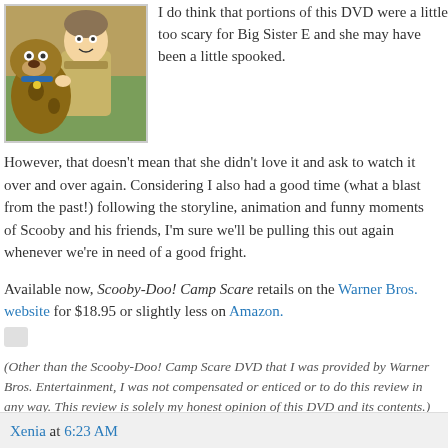[Figure (photo): Scooby-Doo animated characters illustration showing Scooby-Doo and Shaggy]
I do think that portions of this DVD were a little too scary for Big Sister E and she may have been a little spooked. However, that doesn't mean that she didn't love it and ask to watch it over and over again. Considering I also had a good time (what a blast from the past!) following the storyline, animation and funny moments of Scooby and his friends, I'm sure we'll be pulling this out again whenever we're in need of a good fright.
Available now, Scooby-Doo! Camp Scare retails on the Warner Bros. website for $18.95 or slightly less on Amazon.
(Other than the Scooby-Doo! Camp Scare DVD that I was provided by Warner Bros. Entertainment, I was not compensated or enticed or to do this review in any way. This review is solely my honest opinion of this DVD and its contents.)
Xenia at 6:23 AM